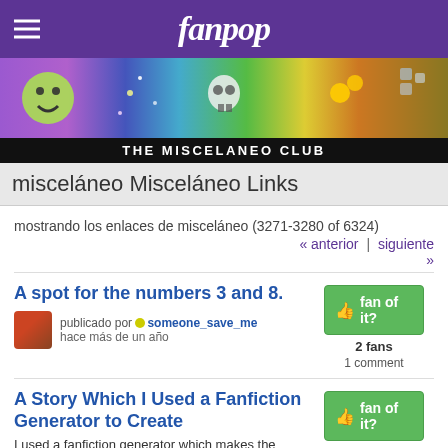fanpop
[Figure (illustration): Colorful banner strip with various images including smiley face, fireworks, skull, bees, and other colorful imagery]
THE MISCELANEO CLUB
misceláneo Misceláneo Links
mostrando los enlaces de misceláneo (3271-3280 of 6324)
« anterior | siguiente »
A spot for the numbers 3 and 8.
publicado por someone_save_me
hace más de un año
2 fans
1 comment
A Story Which I Used a Fanfiction Generator to Create
I used a fanfiction generator which makes the story for you!
publicado por animemaykat101
hace más de un año
2 fans
añadir comentario
A teanage girls on the phone (A short